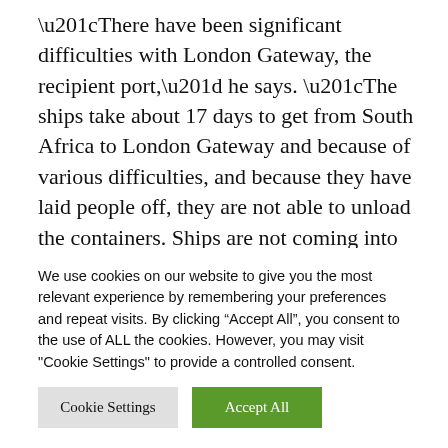“There have been significant difficulties with London Gateway, the recipient port,” he says. “The ships take about 17 days to get from South Africa to London Gateway and because of various difficulties, and because they have laid people off, they are not able to unload the containers. Ships are not coming into London Gateway with containers from South Africa.”
Doran says the agents who book space on vessels leaving Cape Town on his behalf are facing delays and
We use cookies on our website to give you the most relevant experience by remembering your preferences and repeat visits. By clicking “Accept All”, you consent to the use of ALL the cookies. However, you may visit "Cookie Settings" to provide a controlled consent.